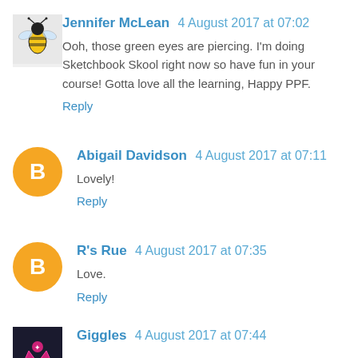Jennifer McLean  4 August 2017 at 07:02
Ooh, those green eyes are piercing. I'm doing Sketchbook Skool right now so have fun in your course! Gotta love all the learning, Happy PPF.
Reply
Abigail Davidson  4 August 2017 at 07:11
Lovely!
Reply
R's Rue  4 August 2017 at 07:35
Love.
Reply
Giggles  4 August 2017 at 07:44